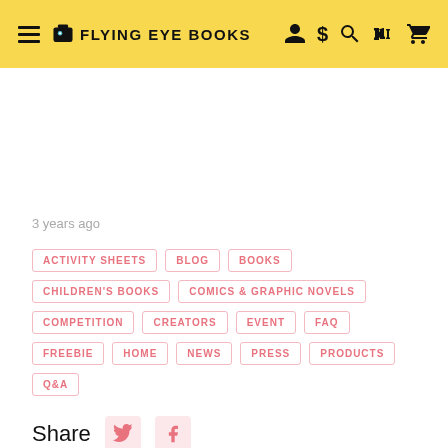FLYING EYE BOOKS
3 years ago
ACTIVITY SHEETS
BLOG
BOOKS
CHILDREN'S BOOKS
COMICS & GRAPHIC NOVELS
COMPETITION
CREATORS
EVENT
FAQ
FREEBIE
HOME
NEWS
PRESS
PRODUCTS
Q&A
Share